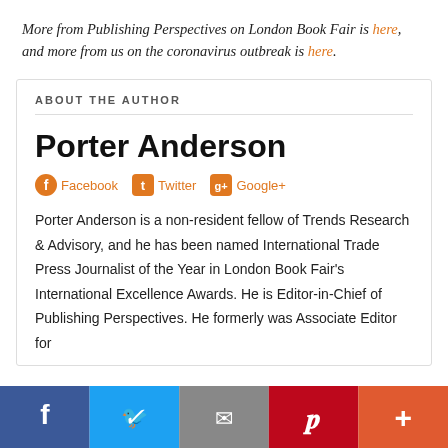More from Publishing Perspectives on London Book Fair is here, and more from us on the coronavirus outbreak is here.
ABOUT THE AUTHOR
Porter Anderson
Facebook Twitter Google+
Porter Anderson is a non-resident fellow of Trends Research & Advisory, and he has been named International Trade Press Journalist of the Year in London Book Fair's International Excellence Awards. He is Editor-in-Chief of Publishing Perspectives. He formerly was Associate Editor for